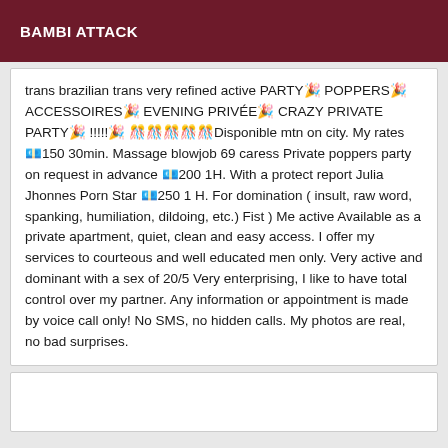BAMBI ATTACK
trans brazilian trans very refined active PARTY🎉 POPPERS🎉 ACCESSOIRES🎉 EVENING PRIVÉE🎉 CRAZY PRIVATE PARTY🎉 !!!!!🎉 🎊🎊🎊🎊🎊Disponible mtn on city. My rates 💶150 30min. Massage blowjob 69 caress Private poppers party on request in advance 💶200 1H. With a protect report Julia Jhonnes Porn Star 💶250 1 H. For domination ( insult, raw word, spanking, humiliation, dildoing, etc.) Fist ) Me active Available as a private apartment, quiet, clean and easy access. I offer my services to courteous and well educated men only. Very active and dominant with a sex of 20/5 Very enterprising, I like to have total control over my partner. Any information or appointment is made by voice call only! No SMS, no hidden calls. My photos are real, no bad surprises.